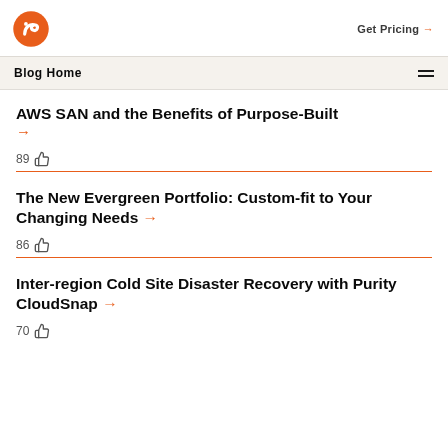Get Pricing →
Blog Home
AWS SAN and the Benefits of Purpose-Built →
89 👍
The New Evergreen Portfolio: Custom-fit to Your Changing Needs →
86 👍
Inter-region Cold Site Disaster Recovery with Purity CloudSnap →
70 👍